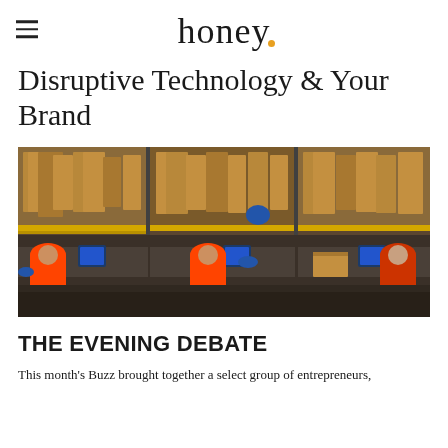honey
Disruptive Technology & Your Brand
[Figure (photo): Aerial/overhead view of an Amazon-style warehouse fulfillment center with workers in orange hi-vis vests working at packing stations, surrounded by cardboard boxes and conveyor belts with computer screens.]
THE EVENING DEBATE
This month's Buzz brought together a select group of entrepreneurs,